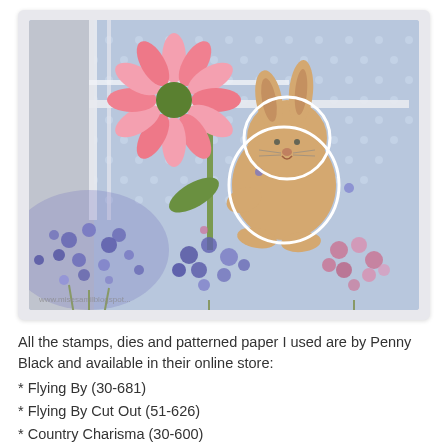[Figure (illustration): A handmade greeting card featuring a cute illustrated bunny rabbit holding a large pink daisy/sunflower, flying above clusters of blue and pink hydrangea-like flowers. The background is light blue with white polka dots, and there is a white window frame element. The card has a light gray/lavender border. A watermark URL is visible in the bottom left of the image.]
All the stamps, dies and patterned paper I used are by Penny Black and available in their online store:
* Flying By (30-681)
* Flying By Cut Out (51-626)
* Country Charisma (30-600)